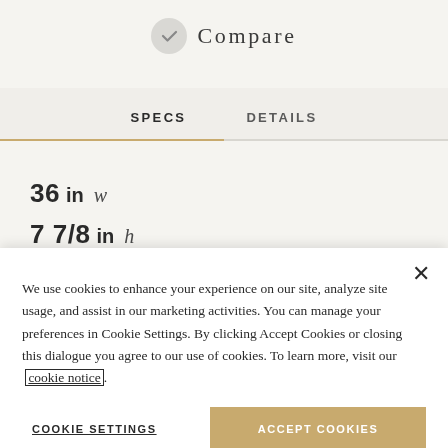Compare
SPECS   DETAILS
36 in w
7 7/8 in h
21 d
We use cookies to enhance your experience on our site, analyze site usage, and assist in our marketing activities. You can manage your preferences in Cookie Settings. By clicking Accept Cookies or closing this dialogue you agree to our use of cookies. To learn more, visit our cookie notice.
COOKIE SETTINGS
ACCEPT COOKIES